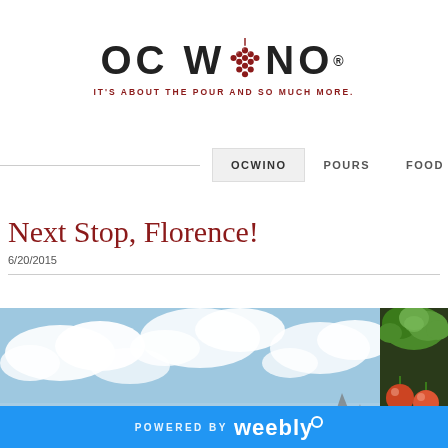[Figure (logo): OC WINO logo with grape cluster replacing the letter O in WINO, tagline IT'S ABOUT THE POUR AND SO MUCH MORE.]
OCWINO   POURS   FOOD
Next Stop, Florence!
6/20/2015
[Figure (photo): Sky with white clouds and a church spire visible at bottom]
[Figure (photo): Vegetables/produce including green leafy vegetables and round red/orange vegetables]
POWERED BY weebly